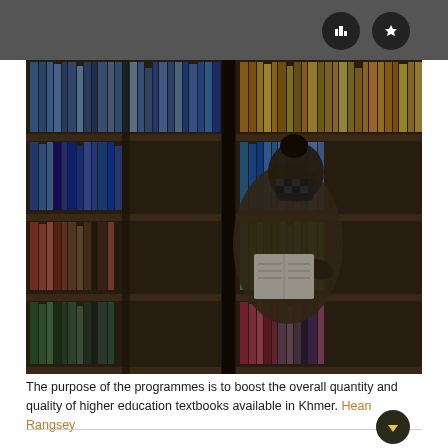[Figure (photo): A student wearing a checkered face mask reads a book while standing in front of library shelves filled with colorful books, arranged in wooden bookcases. The image is darkened/shadowed overall.]
The purpose of the programmes is to boost the overall quantity and quality of higher education textbooks available in Khmer. Hean Rangsey